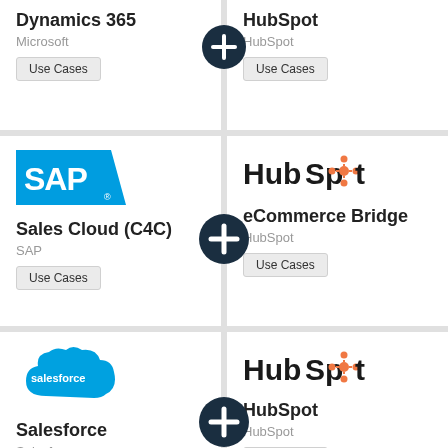[Figure (logo): Dynamics 365 Microsoft product card with Use Cases button]
[Figure (logo): HubSpot product card with Use Cases button]
[Figure (logo): SAP Sales Cloud (C4C) product card with SAP logo and Use Cases button]
[Figure (logo): HubSpot eCommerce Bridge product card with HubSpot logo and Use Cases button]
[Figure (logo): Salesforce product card with Salesforce cloud logo and Use Cases button]
[Figure (logo): HubSpot product card with HubSpot logo and Use Cases button]